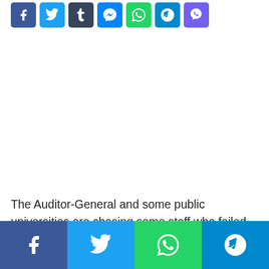[Figure (other): Row of social media share buttons: Facebook, Twitter, Tumblr, Messenger, WhatsApp, Telegram, Viber]
The Auditor-General and some public universities are chasing some staff who failed to return to post after they have been trained with ¢3 million of public funds.
[Figure (other): Bottom bar with four social media share buttons: Facebook, Twitter, WhatsApp, Telegram]